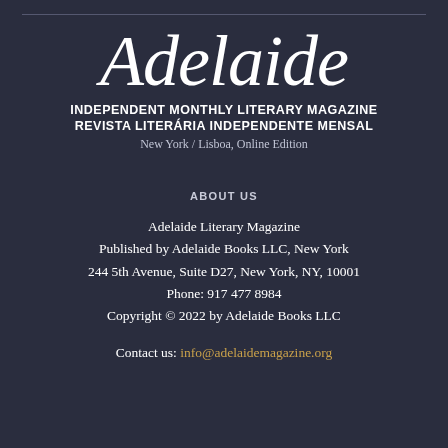Adelaide
INDEPENDENT MONTHLY LITERARY MAGAZINE
REVISTA LITERÁRIA INDEPENDENTE MENSAL
New York / Lisboa, Online Edition
ABOUT US
Adelaide Literary Magazine
Published by Adelaide Books LLC, New York
244 5th Avenue, Suite D27, New York, NY, 10001
Phone: 917 477 8984
Copyright © 2022 by Adelaide Books LLC
Contact us: info@adelaidemagazine.org